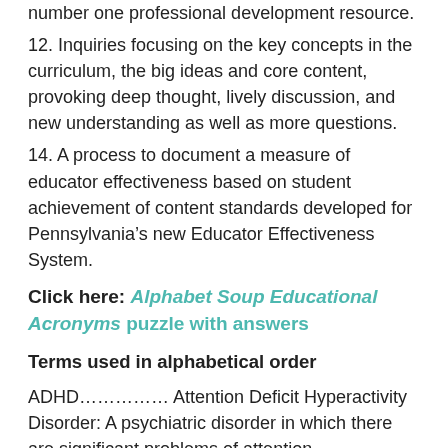number one professional development resource.
12. Inquiries focusing on the key concepts in the curriculum, the big ideas and core content, provoking deep thought, lively discussion, and new understanding as well as more questions.
14. A process to document a measure of educator effectiveness based on student achievement of content standards developed for Pennsylvania’s new Educator Effectiveness System.
Click here: Alphabet Soup Educational Acronyms puzzle with answers
Terms used in alphabetical order
ADHD…………… Attention Deficit Hyperactivity Disorder: A psychiatric disorder in which there are significant problems of attention, hyperactivity, or acting